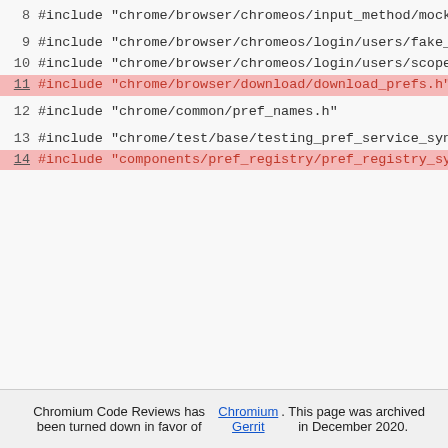8  #include "chrome/browser/chromeos/input_method/mock_inpu
9  #include "chrome/browser/chromeos/login/users/fake_user_
10 #include "chrome/browser/chromeos/login/users/scoped_use
11 #include "chrome/browser/download/download_prefs.h"
12 #include "chrome/common/pref_names.h"
13 #include "chrome/test/base/testing_pref_service_syncable
14 #include "components/pref_registry/pref_registry_syncab
15 #include "testing/gtest/include/gtest/gtest.h"
Chromium Code Reviews has been turned down in favor of Chromium Gerrit. This page was archived in December 2020.